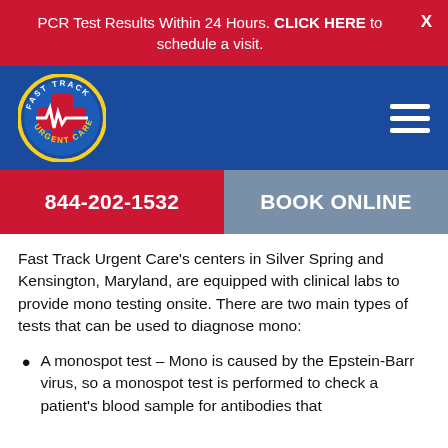PCR Test Results Within 24 Hours. CLICK HERE to schedule a visit.
[Figure (logo): Fast Track Urgent Care logo: circular badge with yellow border, red cross/heartbeat symbol, blue background, text reading FAST TRACK URGENT CARE]
844-202-1532
BOOK ONLINE
Fast Track Urgent Care's centers in Silver Spring and Kensington, Maryland, are equipped with clinical labs to provide mono testing onsite. There are two main types of tests that can be used to diagnose mono:
A monospot test – Mono is caused by the Epstein-Barr virus, so a monospot test is performed to check a patient's blood sample for antibodies that